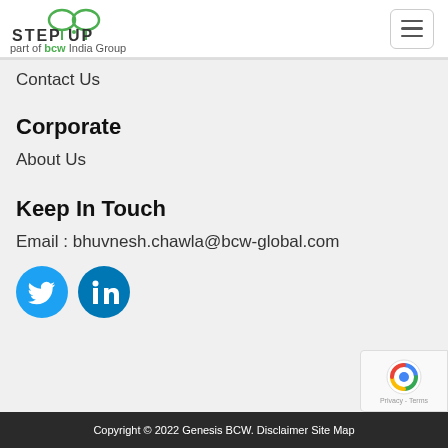[Figure (logo): Step Up logo with tennis racket butterfly graphic and text 'part of bcw India Group']
Contact Us
Corporate
About Us
Keep In Touch
Email : bhuvnesh.chawla@bcw-global.com
[Figure (illustration): Twitter and LinkedIn social media icon buttons]
Copyright © 2022 Genesis BCW. Disclaimer Site Map